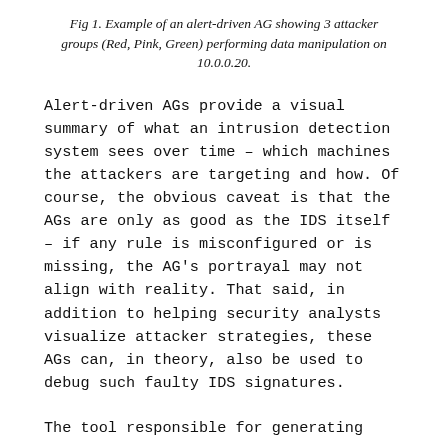Fig 1. Example of an alert-driven AG showing 3 attacker groups (Red, Pink, Green) performing data manipulation on 10.0.0.20.
Alert-driven AGs provide a visual summary of what an intrusion detection system sees over time – which machines the attackers are targeting and how. Of course, the obvious caveat is that the AGs are only as good as the IDS itself – if any rule is misconfigured or is missing, the AG's portrayal may not align with reality. That said, in addition to helping security analysts visualize attacker strategies, these AGs can, in theory, also be used to debug such faulty IDS signatures.
The tool responsible for generating